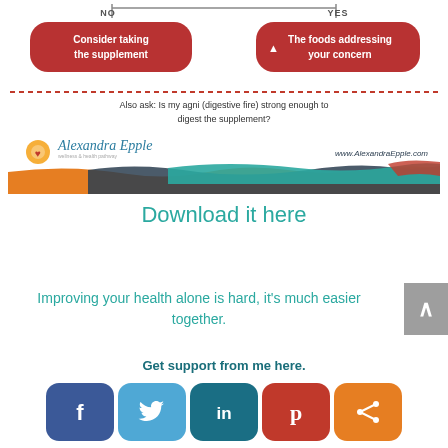[Figure (flowchart): Flowchart branches: NO leads to 'Consider taking the supplement' (red pill), YES leads to 'The foods addressing your concern' (red pill with up arrow). Top connector lines show the branch split.]
Also ask: Is my agni (digestive fire) strong enough to digest the supplement?
[Figure (logo): Alexandra Epple logo with sun icon, brand name in italic teal script, subtitle text, URL www.AlexandraEpple.com, and wavy multicolor bands (orange, dark gray, teal, red-orange)]
Download it here
Improving your health alone is hard, it's much easier together.
Get support from me here.
[Figure (infographic): Social sharing buttons row: Facebook (dark blue), Twitter (light blue), LinkedIn (teal), Pinterest (red), Share (orange)]